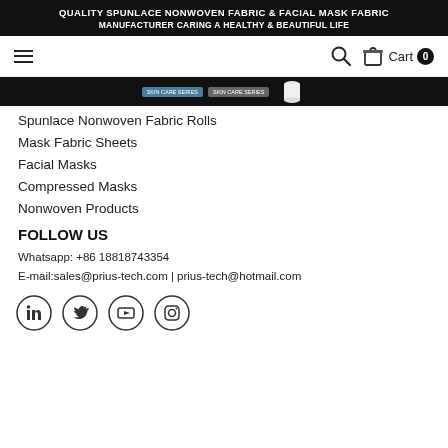QUALITY SPUNLACE NONWOVEN FABRIC & FACIAL MASK FABRIC MANUFACTURER CARING A HEALTHY & BEAUTIFUL LIFE
[Figure (screenshot): Navigation bar with hamburger menu on left, search icon and cart (0) on right]
[Figure (photo): Dark banner strip with two colored buttons and a white cylindrical product image on the right]
Spunlace Nonwoven Fabric Rolls
Mask Fabric Sheets
Facial Masks
Compressed Masks
Nonwoven Products
FOLLOW US
Whatsapp: +86 18818743354
E-mail:sales@prius-tech.com | prius-tech@hotmail.com
[Figure (illustration): Four social media icons in circles: LinkedIn, Twitter, YouTube, Instagram]